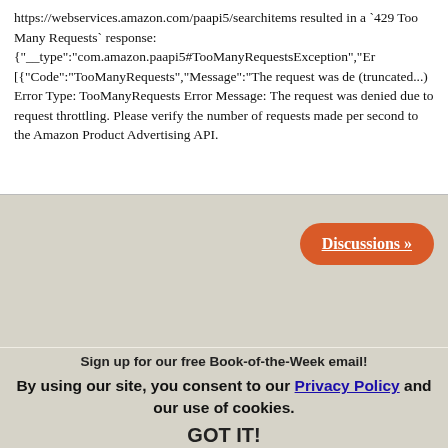https://webservices.amazon.com/paapi5/searchitems resulted in a `429 Too Many Requests` response: {"__type":"com.amazon.paapi5#TooManyRequestsException","Er [{"Code":"TooManyRequests","Message":"The request was de (truncated...) Error Type: TooManyRequests Error Message: The request was denied due to request throttling. Please verify the number of requests made per second to the Amazon Product Advertising API.
Discussions »
Contact Us
Email us
Sign up for our free Book-of-the-Week email!
By using our site, you consent to our Privacy Policy and our use of cookies.
GOT IT!